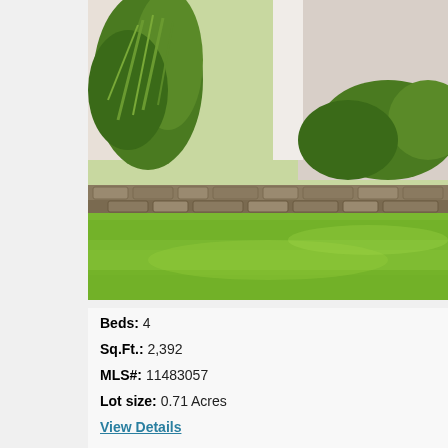[Figure (photo): Exterior photo of a residential property showing a well-maintained green lawn, a stone retaining wall with landscaping and ornamental grass, and the siding of the house visible in the background.]
Beds: 4
Sq.Ft.: 2,392
MLS#: 11483057
Lot size: 0.71 Acres
View Details
Contact: Inquire About This Property, adam@thebaxagroup.com